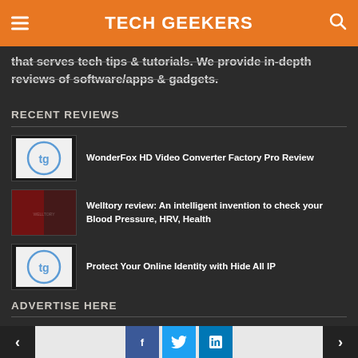TECH GEEKERS
that serves tech tips & tutorials. We provide in-depth reviews of software/apps & gadgets.
RECENT REVIEWS
WonderFox HD Video Converter Factory Pro Review
Welltory review: An intelligent invention to check your Blood Pressure, HRV, Health
Protect Your Online Identity with Hide All IP
ADVERTISE HERE